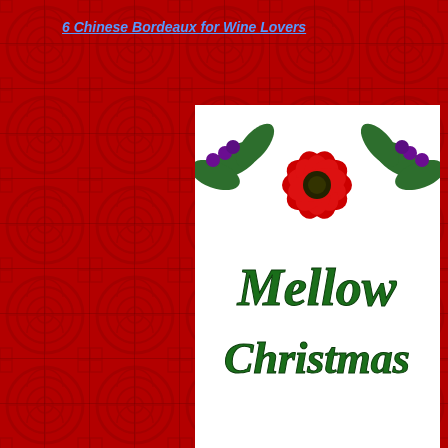6 Chinese Bordeaux for Wine Lovers
[Figure (illustration): Mellow Christmas logo with poinsettia and holly decoration on white background. Text reads 'Mellow Christmas' in green and dark green script lettering with a red poinsettia flower and holly leaves with purple berries at the top.]
•
A Very Mellow (Mild) Christmas!
[Figure (logo): Facebook share button - blue square with white F icon]
[Figure (logo): Twitter share button - blue square with white bird icon]
[Figure (logo): Email share button - dark grey square with white envelope icon]
[Figure (logo): Pinterest share button - red square with white P icon]
[Figure (logo): Share button - dark square with chain link icon]
[Figure (logo): Reddit share button - orange square with white alien mascot icon]